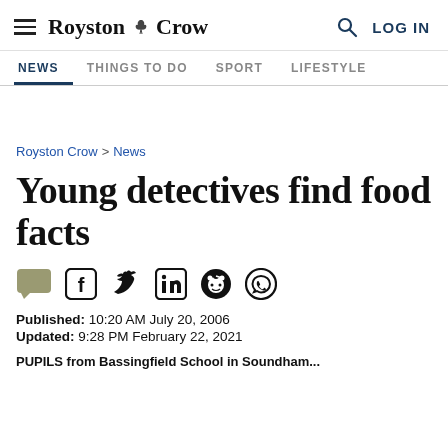Royston Crow — Navigation: NEWS, THINGS TO DO, SPORT, LIFESTYLE
Royston Crow > News
Young detectives find food facts
[Figure (infographic): Social share icons: comment, Facebook, Twitter, LinkedIn, Reddit, WhatsApp]
Published: 10:20 AM July 20, 2006
Updated: 9:28 PM February 22, 2021
PUPILS from Bassingfield School in Soundham...